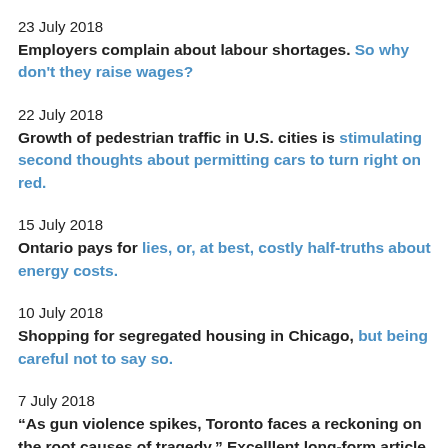23 July 2018
Employers complain about labour shortages. So why don't they raise wages?
22 July 2018
Growth of pedestrian traffic in U.S. cities is stimulating second thoughts about permitting cars to turn right on red.
15 July 2018
Ontario pays for lies, or, at best, costly half-truths about energy costs.
10 July 2018
Shopping for segregated housing in Chicago, but being careful not to say so.
7 July 2018
“As gun violence spikes, Toronto faces a reckoning on the root causes of tragedy.” Excelllent long-form article looks at social, economic, political, law enforcement and public health costs.
5 July 2018
Finding ways of increasing the supply of housing is a priority...